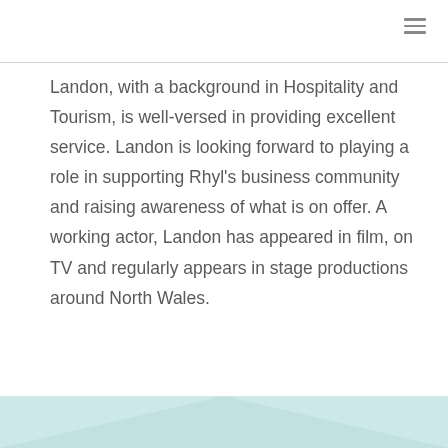Landon, with a background in Hospitality and Tourism, is well-versed in providing excellent service. Landon is looking forward to playing a role in supporting Rhyl's business community and raising awareness of what is on offer. A working actor, Landon has appeared in film, on TV and regularly appears in stage productions around North Wales.